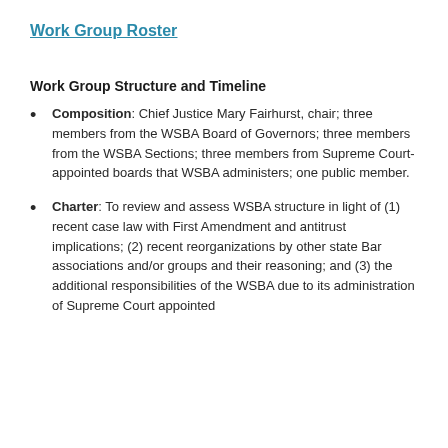Work Group Roster
Work Group Structure and Timeline
Composition: Chief Justice Mary Fairhurst, chair; three members from the WSBA Board of Governors; three members from the WSBA Sections; three members from Supreme Court-appointed boards that WSBA administers; one public member.
Charter: To review and assess WSBA structure in light of (1) recent case law with First Amendment and antitrust implications; (2) recent reorganizations by other state Bar associations and/or groups and their reasoning; and (3) the additional responsibilities of the WSBA due to its administration of Supreme Court appointed